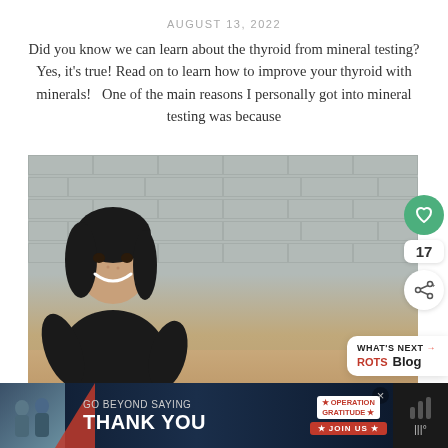AUGUST 13, 2022
Did you know we can learn about the thyroid from mineral testing? Yes, it's true! Read on to learn how to improve your thyroid with minerals!   One of the main reasons I personally got into mineral testing was because
[Figure (photo): A smiling woman with dark hair wearing a black outfit, seated in front of a gray concrete block wall with a gravel/mulch ground, laughing and leaning forward. Social interaction buttons (heart/like with count 17, share) visible on the right side. 'What's Next' blog navigation box partially visible at bottom right.]
[Figure (infographic): Advertisement banner at the bottom: dark blue background with text 'GO BEYOND SAYING THANK YOU' and Operation Gratitude logo with 'JOIN US' button. Close button (x) visible. Weather widget visible at far right.]